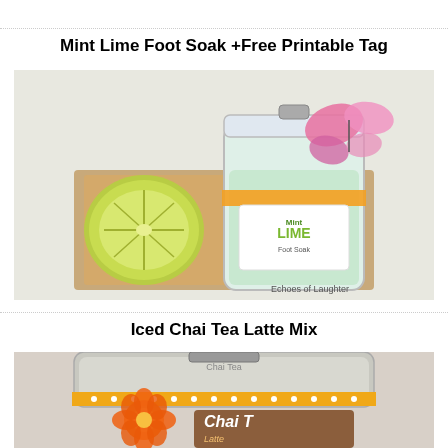Mint Lime Foot Soak +Free Printable Tag
[Figure (photo): A glass jar with mint lime foot soak mixture topped with a pink butterfly decoration and orange ribbon, sitting on a wooden board next to a halved lime. Label reads 'Mint Lime Foot Soak'. Watermark: Echoes of Laughter.]
Iced Chai Tea Latte Mix
[Figure (photo): A glass jar with an orange ribbon and orange flower decoration, with a printed tag partially visible reading 'Chai Tea Latte Mix'.]